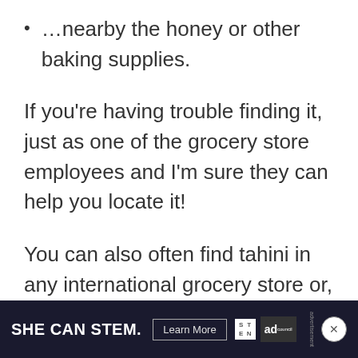…nearby the honey or other baking supplies.
If you're having trouble finding it, just as one of the grocery store employees and I'm sure they can help you locate it!
You can also often find tahini in any international grocery store or, my personal favorite, buy a couple jars on Amazon!
[Figure (screenshot): Advertisement banner for 'SHE CAN STEM' campaign with a 'Learn More' button and ad council logos, with a close button.]